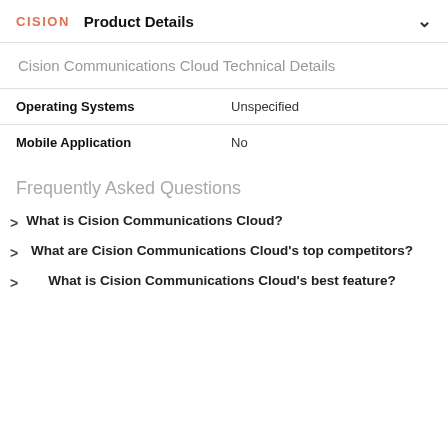CISION  Product Details
Cision Communications Cloud Technical Details
| Operating Systems | Unspecified |
| Mobile Application | No |
Frequently Asked Questions
What is Cision Communications Cloud?
What are Cision Communications Cloud's top competitors?
What is Cision Communications Cloud's best feature?